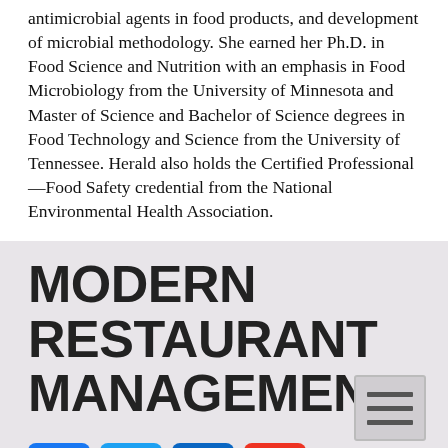antimicrobial agents in food products, and development of microbial methodology. She earned her Ph.D. in Food Science and Nutrition with an emphasis in Food Microbiology from the University of Minnesota and Master of Science and Bachelor of Science degrees in Food Technology and Science from the University of Tennessee. Herald also holds the Certified Professional—Food Safety credential from the National Environmental Health Association.
Modern Restaurant Management
[Figure (logo): Social media icons: Facebook (blue), Twitter (light blue), LinkedIn (dark blue), YouTube (red), and a hamburger menu button (grey)]